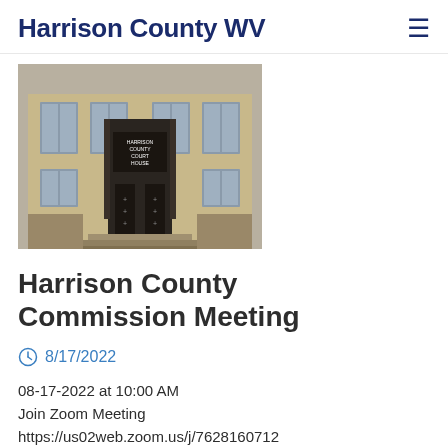Harrison County WV
[Figure (photo): Exterior photo of Harrison County Court House building, an Art Deco style stone building with ornate entrance doors and signage reading HARRISON COUNTY COURT HOUSE]
Harrison County Commission Meeting
8/17/2022
08-17-2022 at 10:00 AM
Join Zoom Meeting
https://us02web.zoom.us/j/7628160712